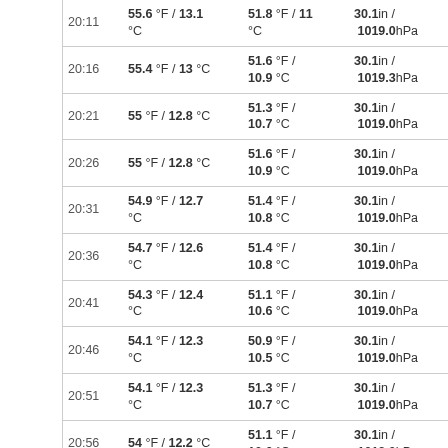| Time | Temp | Dew Point | Pressure | Wind |
| --- | --- | --- | --- | --- |
| 20:11 | 55.6 °F / 13.1 °C | 51.8 °F / 11 °C | 30.1in / 1019.0hPa | Calm |
| 20:16 | 55.4 °F / 13 °C | 51.6 °F / 10.9 °C | 30.1in / 1019.3hPa | Calm |
| 20:21 | 55 °F / 12.8 °C | 51.3 °F / 10.7 °C | 30.1in / 1019.0hPa | Calm |
| 20:26 | 55 °F / 12.8 °C | 51.6 °F / 10.9 °C | 30.1in / 1019.0hPa | Calm |
| 20:31 | 54.9 °F / 12.7 °C | 51.4 °F / 10.8 °C | 30.1in / 1019.0hPa | Calm |
| 20:36 | 54.7 °F / 12.6 °C | 51.4 °F / 10.8 °C | 30.1in / 1019.0hPa | Calm |
| 20:41 | 54.3 °F / 12.4 °C | 51.1 °F / 10.6 °C | 30.1in / 1019.0hPa | Calm |
| 20:46 | 54.1 °F / 12.3 °C | 50.9 °F / 10.5 °C | 30.1in / 1019.0hPa | Calm |
| 20:51 | 54.1 °F / 12.3 °C | 51.3 °F / 10.7 °C | 30.1in / 1019.0hPa | Calm |
| 20:56 | 54 °F / 12.2 °C | 51.1 °F / 10.6 °C | 30.1in / 1019.0hPa | Calm |